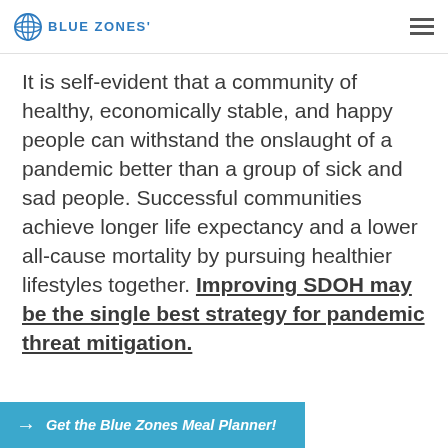BLUE ZONES'
It is self-evident that a community of healthy, economically stable, and happy people can withstand the onslaught of a pandemic better than a group of sick and sad people. Successful communities achieve longer life expectancy and a lower all-cause mortality by pursuing healthier lifestyles together. Improving SDOH may be the single best strategy for pandemic threat mitigation.
Get the Blue Zones Meal Planner!